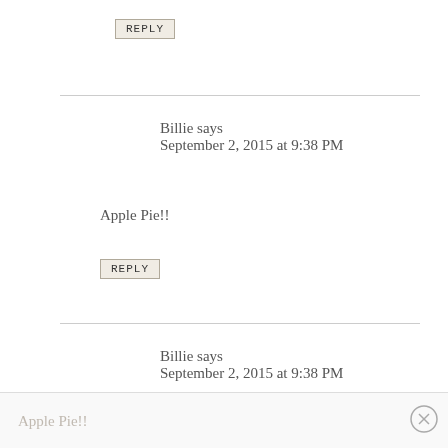REPLY
Billie says
September 2, 2015 at 9:38 PM
Apple Pie!!
REPLY
Billie says
September 2, 2015 at 9:38 PM
Apple Pie!!